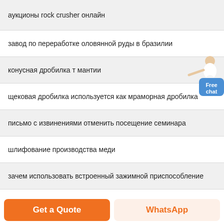аукционы rock crusher онлайн
завод по переработке оловянной руды в бразилии
конусная дробилка т мантии
щековая дробилка используется как мраморная дробилка
письмо с извинениями отменить посещение семинара
шлифование производства меди
зачем использовать встроенный зажимной приспособление
[Figure (illustration): Customer service representative figure with Free chat widget button in blue]
Get a Quote
WhatsApp